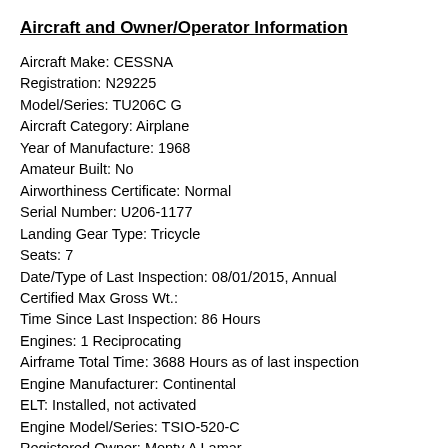Aircraft and Owner/Operator Information
Aircraft Make: CESSNA
Registration: N29225
Model/Series: TU206C G
Aircraft Category: Airplane
Year of Manufacture: 1968
Amateur Built: No
Airworthiness Certificate: Normal
Serial Number: U206-1177
Landing Gear Type: Tricycle
Seats: 7
Date/Type of Last Inspection: 08/01/2015, Annual
Certified Max Gross Wt.:
Time Since Last Inspection: 86 Hours
Engines: 1 Reciprocating
Airframe Total Time: 3688 Hours as of last inspection
Engine Manufacturer: Continental
ELT: Installed, not activated
Engine Model/Series: TSIO-520-C
Registered Owner: Monty A Lamar
Rated Power: 285 hp